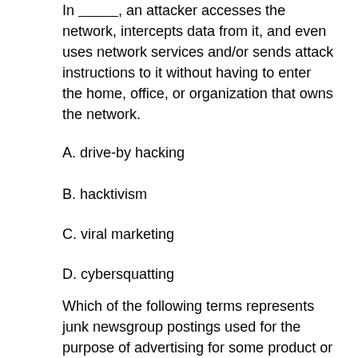In __________, an attacker accesses the network, intercepts data from it, and even uses network services and/or sends attack instructions to it without having to enter the home, office, or organization that owns the network.
A. drive-by hacking
B. hacktivism
C. viral marketing
D. cybersquatting
Which of the following terms represents junk newsgroup postings used for the purpose of advertising for some product or service?
A. Spam
B. Adware